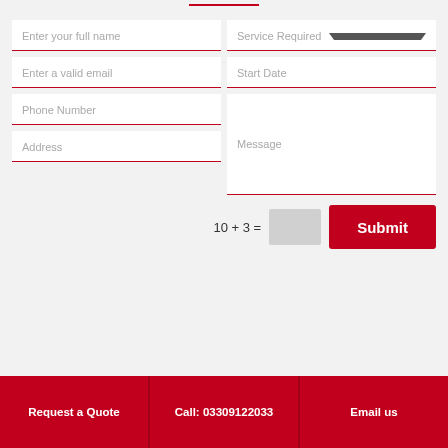Enter your full name
Service Required
Enter a valid email
Start Date
Phone Number
Message
Address
10 + 3 =
Submit
Request a Quote
Call: 03309122033
Email us